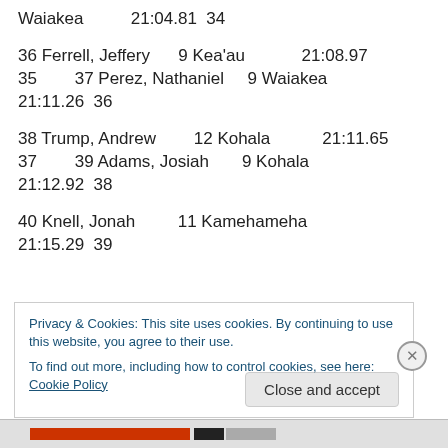Waiakea   21:04.81   34
36 Ferrell, Jeffery   9 Kea'au   21:08.97
35   37 Perez, Nathaniel   9 Waiakea   21:11.26   36
38 Trump, Andrew   12 Kohala   21:11.65
37   39 Adams, Josiah   9 Kohala   21:12.92   38
40 Knell, Jonah   11 Kamehameha   21:15.29   39
Privacy & Cookies: This site uses cookies. By continuing to use this website, you agree to their use. To find out more, including how to control cookies, see here: Cookie Policy
Close and accept